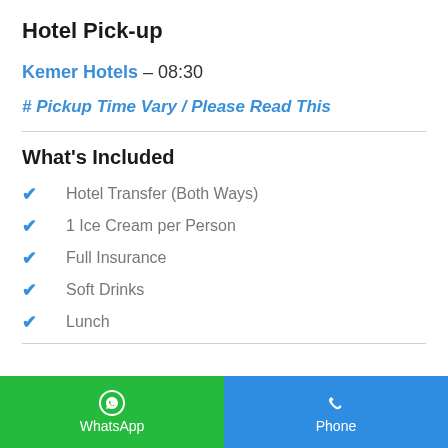Hotel Pick-up
Kemer Hotels – 08:30
# Pickup Time Vary / Please Read This
What's Included
Hotel Transfer (Both Ways)
1 Ice Cream per Person
Full Insurance
Soft Drinks
Lunch
WhatsApp  Phone